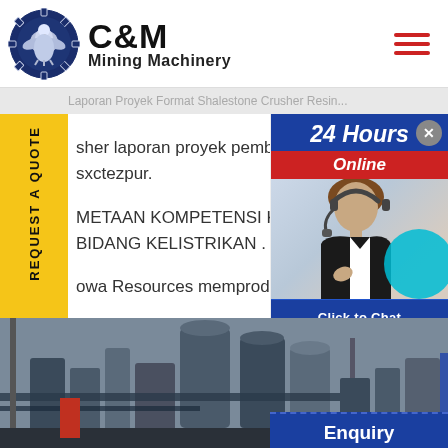[Figure (logo): C&M Mining Machinery logo with eagle in gear circle, dark navy blue]
C&M Mining Machinery
Laporan Proyek (partial, greyed heading strip)
sher laporan proyek pembangkit sxctezpur. METAAN KOMPETENSI KERJA BIDANG KELISTRIKAN . owa Resources memproduksi S gan dukungan pembangkit listr gan pembiayaan proyek tersel ... maupun Client Server (Accur mperoleh sebuah laporan Acco
[Figure (photo): Industrial mining/crushing equipment facility photo at bottom]
[Figure (photo): Customer service agent with headset, 24 Hours Online chat panel overlay on right side]
REQUEST A QUOTE (vertical sidebar)
24 Hours Online
Click to Chat
Enquiry